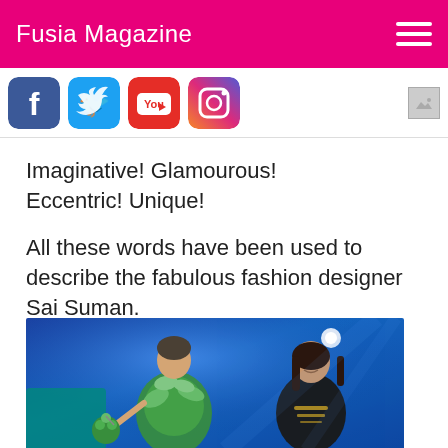Fusia Magazine
[Figure (other): Social media icons: Facebook, Twitter, YouTube, Instagram, and a small broken image placeholder]
Imaginative! Glamourous! Eccentric! Unique!

All these words have been used to describe the fabulous fashion designer Sai Suman.
[Figure (photo): Two women on a fashion show stage with blue lighting. One woman wears an elaborate green leafy botanical dress and holds a topiary ball. The other woman wears a black outfit with gold embellishments.]